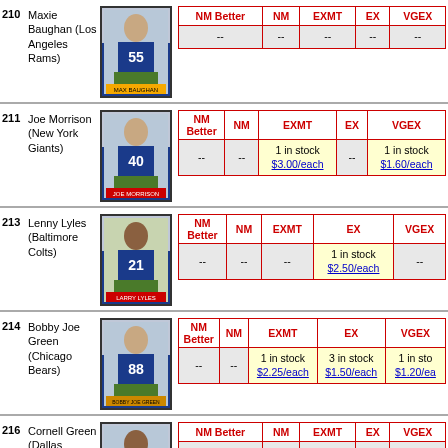| # | Player | Image | NM Better | NM | EXMT | EX | VGEX |
| --- | --- | --- | --- | --- | --- | --- | --- |
| 210 | Maxie Baughan (Los Angeles Rams) |  | -- | -- | -- | -- | -- |
| 211 | Joe Morrison (New York Giants) |  | -- | -- | 1 in stock $3.00/each | -- | 1 in stock $1.60/each |
| 213 | Lenny Lyles (Baltimore Colts) |  | -- | -- | -- | 1 in stock $2.50/each | -- |
| 214 | Bobby Joe Green (Chicago Bears) |  | -- | -- | 1 in stock $2.25/each | 3 in stock $1.50/each | 1 in stock $1.20/each |
| 216 | Cornell Green (Dallas Cowboys) |  | -- | -- | -- | -- | -- |